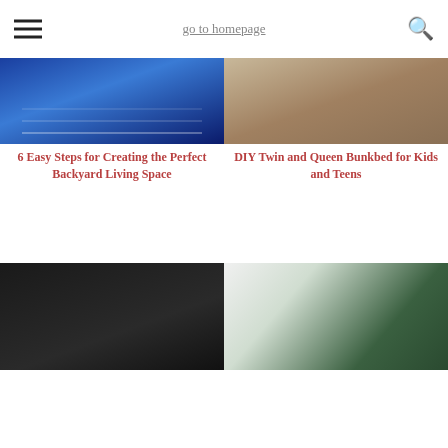go to homepage
[Figure (photo): Backyard living space with blue lighting and string lights]
6 Easy Steps for Creating the Perfect Backyard Living Space
[Figure (photo): DIY twin and queen bunkbed with wooden frame]
DIY Twin and Queen Bunkbed for Kids and Teens
[Figure (photo): Dark floral wallpaper bedroom with black and white flowers and bed]
[Figure (photo): Green accent wall bedroom with chandelier and white bed]